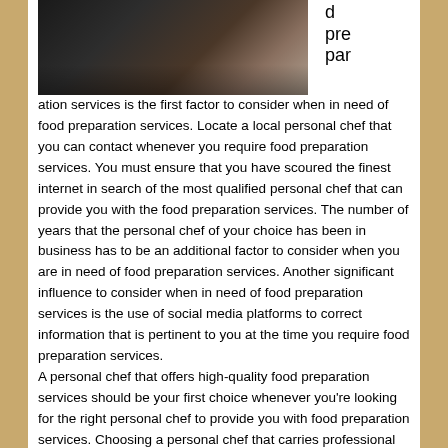[Figure (photo): Partial photo of food preparation or kitchen setting, dark toned image cut off at top of page]
d preparation services is the first factor to consider when in need of food preparation services. Locate a local personal chef that you can contact whenever you require food preparation services. You must ensure that you have scoured the finest internet in search of the most qualified personal chef that can provide you with the food preparation services. The number of years that the personal chef of your choice has been in business has to be an additional factor to consider when you are in need of food preparation services. Another significant influence to consider when in need of food preparation services is the use of social media platforms to correct information that is pertinent to you at the time you require food preparation services.
A personal chef that offers high-quality food preparation services should be your first choice whenever you're looking for the right personal chef to provide you with food preparation services. Choosing a personal chef that carries professional indemnity insurance is an additional factor to consider when in need of food preparation services.
Selecting a reputable personal chef should be another...